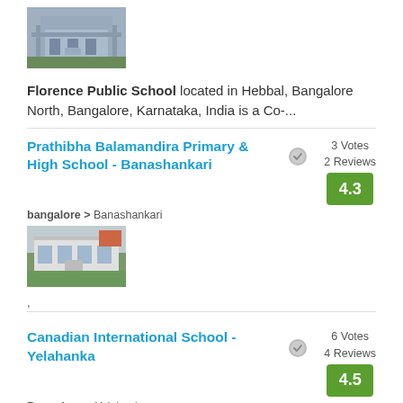[Figure (photo): Thumbnail photo of Florence Public School building]
Florence Public School located in Hebbal, Bangalore North, Bangalore, Karnataka, India is a Co-...
Prathibha Balamandira Primary & High School - Banashankari
bangalore > Banashankari
[Figure (photo): Thumbnail photo of Prathibha Balamandira Primary & High School]
,
Canadian International School - Yelahanka
Bangalore > Yelahanka
[Figure (photo): Thumbnail photo of Canadian International School]